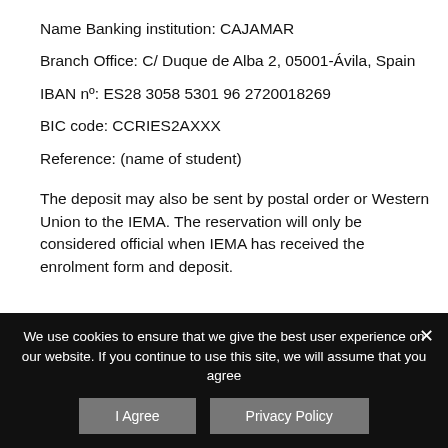Name Banking institution: CAJAMAR
Branch Office: C/ Duque de Alba 2, 05001-Ávila, Spain
IBAN nº: ES28 3058 5301 96 2720018269
BIC code: CCRIES2AXXX
Reference: (name of student)

The deposit may also be sent by postal order or Western Union to the IEMA. The reservation will only be considered official when IEMA has received the enrolment form and deposit.
We use cookies to ensure that we give the best user experience on our website. If you continue to use this site, we will assume that you agree